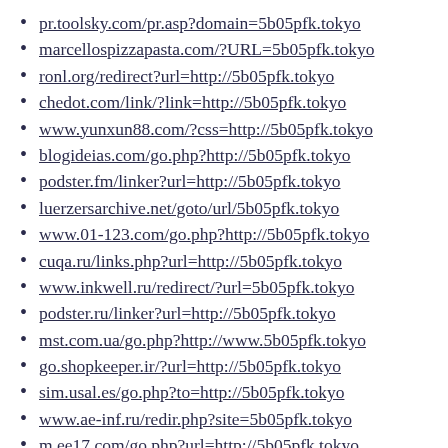pr.toolsky.com/pr.asp?domain=5b05pfk.tokyo
marcellospizzapasta.com/?URL=5b05pfk.tokyo
ronl.org/redirect?url=http://5b05pfk.tokyo
chedot.com/link/?link=http://5b05pfk.tokyo
www.yunxun88.com/?css=http://5b05pfk.tokyo
blogideias.com/go.php?http://5b05pfk.tokyo
podster.fm/linker?url=http://5b05pfk.tokyo
luerzersarchive.net/goto/url/5b05pfk.tokyo
www.01-123.com/go.php?http://5b05pfk.tokyo
cuqa.ru/links.php?url=http://5b05pfk.tokyo
www.inkwell.ru/redirect/?url=5b05pfk.tokyo
podster.ru/linker?url=http://5b05pfk.tokyo
mst.com.ua/go.php?http://www.5b05pfk.tokyo
go.shopkeeper.ir/?url=http://5b05pfk.tokyo
sim.usal.es/go.php?to=http://5b05pfk.tokyo
www.ae-inf.ru/redir.php?site=5b05pfk.tokyo
m.ee17.com/go.php?url=http://5b05pfk.tokyo
kamaz.ru/away.php?url=http://5b05pfk.tokyo
vaguo.ru/links.php?go=http://5b05pfk.tokyo